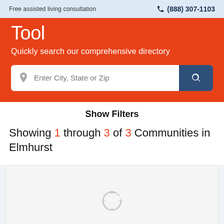Free assisted living consultation   ☎ (888) 307-1103
Tool
Quickly search our comprehensive directory
Show Filters
Showing 1 through 3 of 3 Communities in Elmhurst
[Figure (screenshot): Loading spinner inside a white card placeholder]